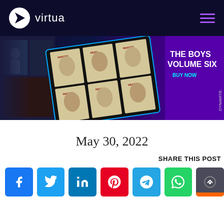virtua
[Figure (screenshot): Banner advertisement for 'The Boys Volume Six – Buy Now' by Dynamite, showing comic book characters and wanted poster artwork on tablets/screens against a purple background.]
May 30, 2022
SHARE THIS POST
[Figure (infographic): A row of social share buttons: Facebook, Twitter, LinkedIn, Pinterest, Telegram, WhatsApp, and a scroll-to-top button.]